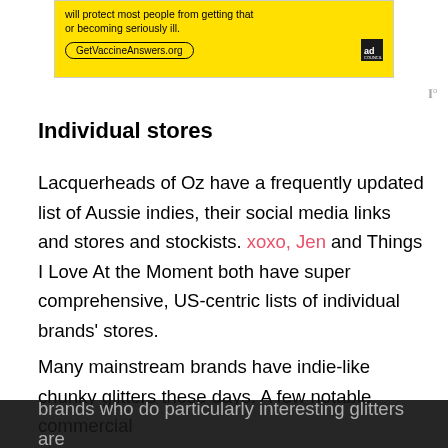[Figure (other): Yellow advertisement banner for GetVaccineAnswers.org by Ad Council, with text 'will protect most people from getting that or becoming seriously ill.' and a pill-shaped URL button]
Individual stores
Lacquerheads of Oz have a frequently updated list of Aussie indies, their social media links and stores and stockists. xoxo, Jen and Things I Love At the Moment both have super comprehensive, US-centric lists of individual brands' stores.
Many mainstream brands have indie-like chunky glitters these days. A few notable commercial brands who do particularly interesting glitters are